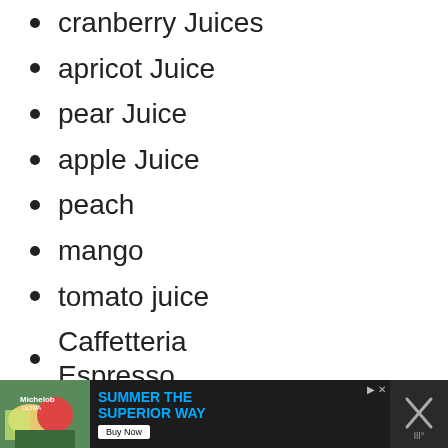cranberry Juices
apricot Juice
pear Juice
apple Juice
peach
mango
tomato juice
Caffetteria Espresso,
Cappuccino
Caffe latte
Ginseng coffee